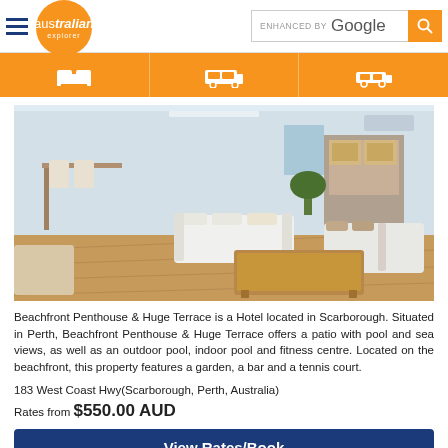australian explorer | ENHANCED BY Google
[Figure (photo): Interior living room of Beachfront Penthouse & Huge Terrace: white sofas, wooden coffee table, open-plan kitchen, hardwood floors]
Beachfront Penthouse & Huge Terrace is a Hotel located in Scarborough. Situated in Perth, Beachfront Penthouse & Huge Terrace offers a patio with pool and sea views, as well as an outdoor pool, indoor pool and fitness centre. Located on the beachfront, this property features a garden, a bar and a tennis court.
183 West Coast Hwy(Scarborough, Perth, Australia)
Rates from $550.00 AUD